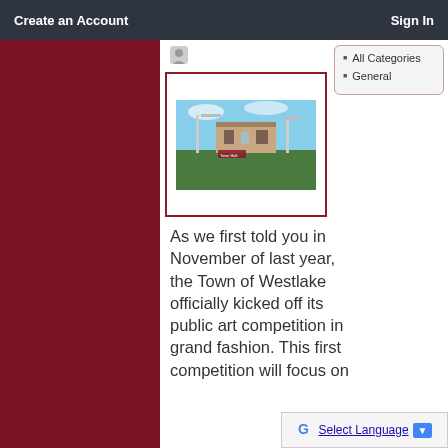Create an Account    Sign In
[Figure (screenshot): Website screenshot showing a town government page with a dark header bar containing 'Create an Account' and 'Sign In' links, a dark red left sidebar, a thumbnail image of a sports/park field with lights, a categories panel with 'All Categories' and 'General' links, and article body text about the Town of Westlake public art competition.]
All Categories
General
As we first told you in November of last year, the Town of Westlake officially kicked off its public art competition in grand fashion. This first competition will focus on